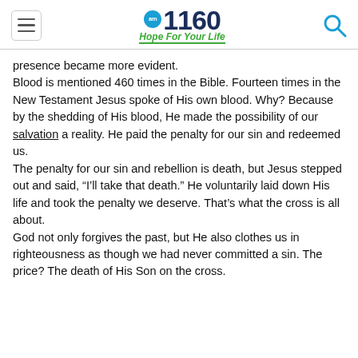am1160 Hope For Your Life
presence became more evident.
Blood is mentioned 460 times in the Bible. Fourteen times in the New Testament Jesus spoke of His own blood. Why? Because by the shedding of His blood, He made the possibility of our salvation a reality. He paid the penalty for our sin and redeemed us.
The penalty for our sin and rebellion is death, but Jesus stepped out and said, “I’ll take that death.” He voluntarily laid down His life and took the penalty we deserve. That’s what the cross is all about.
God not only forgives the past, but He also clothes us in righteousness as though we had never committed a sin. The price? The death of His Son on the cross.